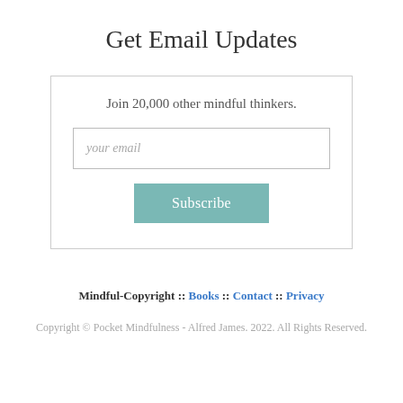Get Email Updates
Join 20,000 other mindful thinkers.
your email
Subscribe
Mindful-Copyright :: Books :: Contact :: Privacy
Copyright © Pocket Mindfulness - Alfred James. 2022. All Rights Reserved.